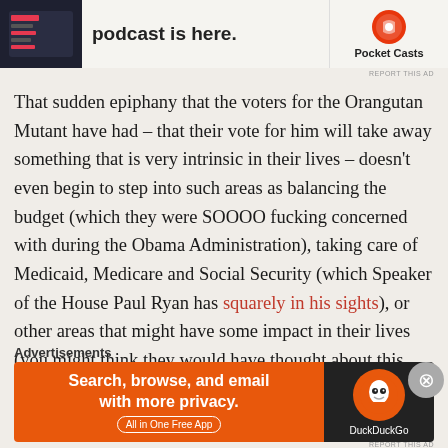[Figure (screenshot): Top advertisement banner for Pocket Casts podcast app with dark background showing app screenshot on left, text 'podcast is here.' in center, and Pocket Casts logo on right]
That sudden epiphany that the voters for the Orangutan Mutant have had – that their vote for him will take away something that is very intrinsic in their lives – doesn't even begin to step into such areas as balancing the budget (which they were SOOOO fucking concerned with during the Obama Administration), taking care of Medicaid, Medicare and Social Security (which Speaker of the House Paul Ryan has squarely in his sights), or other areas that might have some impact in their lives (you might think they would have thought about this previous to the election…now you
Advertisements
[Figure (screenshot): DuckDuckGo advertisement with orange left panel saying 'Search, browse, and email with more privacy. All in One Free App' and dark right panel with DuckDuckGo logo]